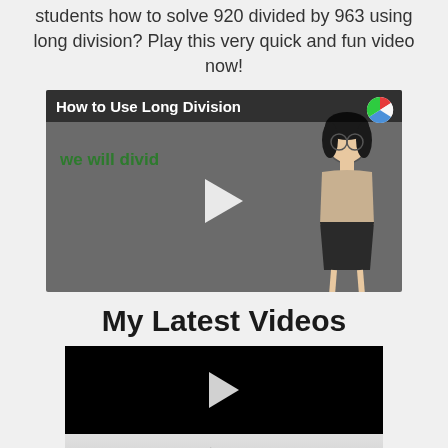students how to solve 920 divided by 963 using long division? Play this very quick and fun video now!
[Figure (screenshot): Video thumbnail showing 'How to Use Long Division' with a cartoon female teacher figure, green text 'we will divid', a play button, and a colorful logo in the top right corner.]
My Latest Videos
[Figure (screenshot): Black video player thumbnail with a play button, and its reflection below on a gray background.]